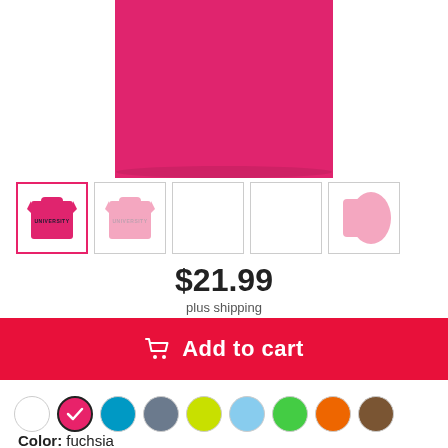[Figure (photo): Cropped bottom portion of a fuchsia/hot-pink t-shirt on white background]
[Figure (photo): Row of 5 product thumbnail images: selected fuchsia t-shirt front, light pink t-shirt front, two blank/empty frames, and a light pink t-shirt sleeve view]
$21.99
plus shipping
Add to cart
Color: fuchsia